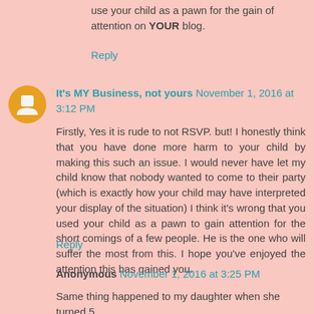use your child as a pawn for the gain of attention on YOUR blog.
Reply
It's MY Business, not yours  November 1, 2016 at 3:12 PM
Firstly, Yes it is rude to not RSVP. but! I honestly think that you have done more harm to your child by making this such an issue. I would never have let my child know that nobody wanted to come to their party (which is exactly how your child may have interpreted your display of the situation) I think it's wrong that you used your child as a pawn to gain attention for the short comings of a few people. He is the one who will suffer the most from this. I hope you've enjoyed the attention this has gained you.
Reply
Anonymous  November 1, 2016 at 3:25 PM
Same thing happened to my daughter when she turned 5